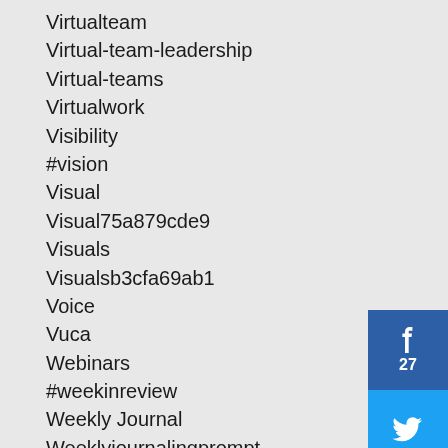Virtualteam
Virtual-team-leadership
Virtual-teams
Virtualwork
Visibility
#vision
Visual
Visual75a879cde9
Visuals
Visualsb3cfa69ab1
Voice
Vuca
Webinars
#weekinreview
Weekly Journal
Weeklyjournalingprompt
Weekly Journaling Prompt
Weekly Review
Welcometomay
[Figure (infographic): Social media share buttons: Facebook (27 shares), Twitter, Pinterest]